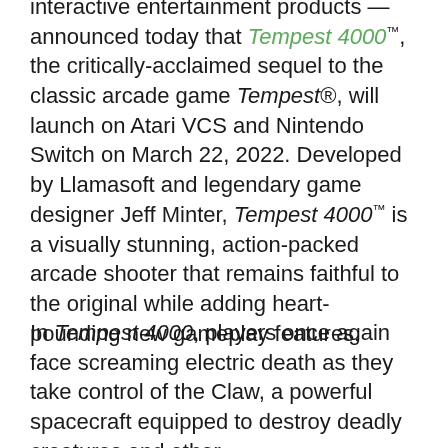interactive entertainment products — announced today that Tempest 4000™, the critically-acclaimed sequel to the classic arcade game Tempest®, will launch on Atari VCS and Nintendo Switch on March 22, 2022. Developed by Llamasoft and legendary game designer Jeff Minter, Tempest 4000™ is a visually stunning, action-packed arcade shooter that remains faithful to the original while adding heart-pounding new gameplay features.
In Tempest 4000, players once again face screaming electric death as they take control of the Claw, a powerful spacecraft equipped to destroy deadly creatures and other elements throughout fixed-geometry levels.